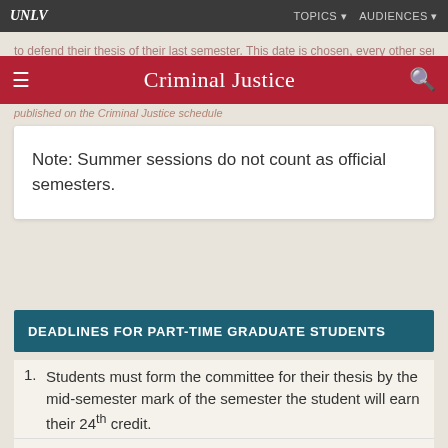UNLV | Criminal Justice | TOPICS | AUDIENCES
Note: Summer sessions do not count as official semesters.
DEADLINES FOR PART-TIME GRADUATE STUDENTS
Students must form the committee for their thesis by the mid-semester mark of the semester the student will earn their 24th credit.
Students must have their thesis proposal